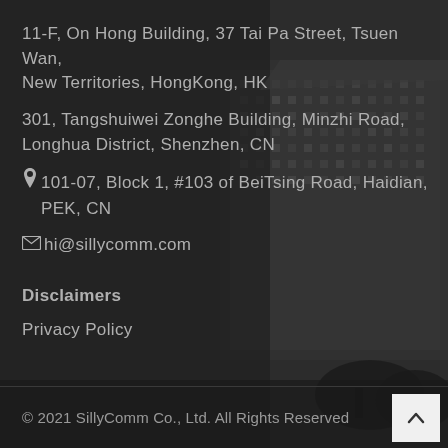11-F, On Hong Building, 37 Tai Pa Street, Tsuen Wan, New Territories, HongKong, HK
301, Tangshuiwei Zonghe Building, Minzhi Road, Longhua District, Shenzhen, CN
📍 101-07, Block 1, #103 of BeiTsing Road, Haidian, PEK, CN
✉ hi@sillycomm.com
Disclaimers
Privacy Policy
© 2021 SillyComm Co., Ltd. All Rights Reserved